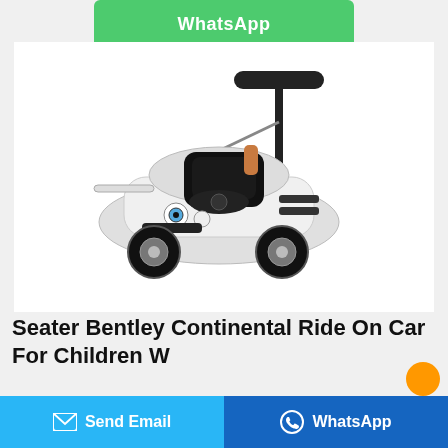[Figure (other): Green WhatsApp button at top center of page]
2
[Figure (photo): White Seater Bentley Continental ride-on push car for children with black parent handle, steering wheel, and sporty design]
Seater Bentley Continental Ride On Car For Children W
[Figure (other): Bottom bar with cyan Send Email button on left and dark blue WhatsApp button on right]